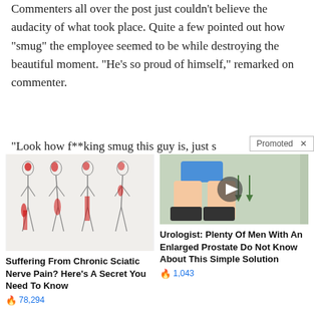Commenters all over the post just couldn't believe the audacity of what took place. Quite a few pointed out how "smug" the employee seemed to be while destroying the beautiful moment. "He's so proud of himself," remarked on commenter.
"Look how f**king smug this guy is, just s...re
[Figure (infographic): Promoted ad banner with two advertisement cards. Left ad shows sciatic nerve pain illustrations with human body diagrams highlighting pain areas in red. Right ad shows a video thumbnail of a person squatting with green arrows. Left ad title: 'Suffering From Chronic Sciatic Nerve Pain? Here's A Secret You Need To Know' with 78,294 engagement count. Right ad title: 'Urologist: Plenty Of Men With An Enlarged Prostate Do Not Know About This Simple Solution' with 1,043 engagement count.]